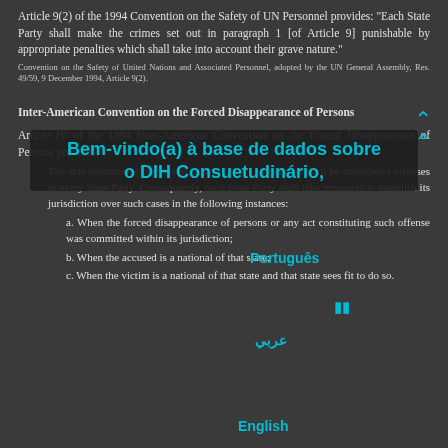Article 9(2) of the 1994 Convention on the Safety of UN Personnel provides: "Each State Party shall make the crimes set out in paragraph 1 [of Article 9] punishable by appropriate penalties which shall take into account their grave nature."
Convention on the Safety of United Nations and Associated Personnel, adopted by the UN General Assembly, Res. 49/59, 9 December 1994, Article 9(2).
Inter-American Convention on the Forced Disappearance of Persons
Article IV of the 1994 Inter-American Convention on the Forced Disappearance of Persons provides:
The acts constituting the forced disappearance of persons shall be considered offenses in every State Party. Consequently, each State Party shall take measures to establish its jurisdiction over such cases in the following instances:
a. When the forced disappearance of persons or any act constituting such offense was committed within its jurisdiction;
b. When the accused is a national of that state;
c. When the victim is a national of that state and that state sees fit to do so.